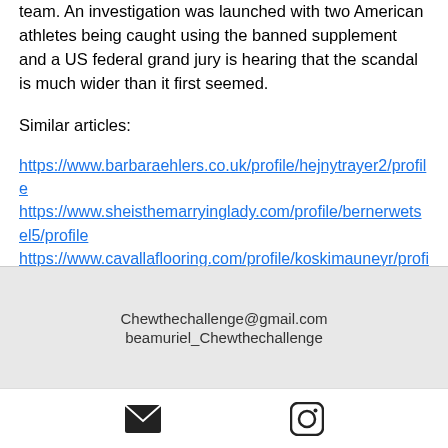team. An investigation was launched with two American athletes being caught using the banned supplement and a US federal grand jury is hearing that the scandal is much wider than it first seemed.
Similar articles:
https://www.barbaraehlers.co.uk/profile/hejnytrayer2/profile
https://www.sheisthemarryinglady.com/profile/bernerwetsel5/profile
https://www.cavallaflooring.com/profile/koskimauneyr/profile
https://az.churcheternallife.com/profile/stielwaskin0/profile
[Figure (infographic): Footer card with email Chewthechallenge@gmail.com, handle beamuriel_Chewthechallenge, email icon and Instagram icon]